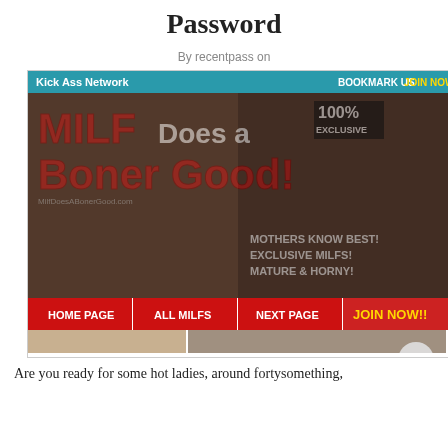Password
By recentpass on
[Figure (screenshot): Screenshot of adult website 'MILF Does a Boner Good' showing banner with text 'Kick Ass Network', 'BOOKMARK US', 'JOIN NOW!!', '100% EXCLUSIVE', 'MOTHERS KNOW BEST! EXCLUSIVE MILFS! MATURE & HORNY!', navigation buttons: HOME PAGE, ALL MILFS, NEXT PAGE, JOIN NOW!!]
Are you ready for some hot ladies, around fortysomething,